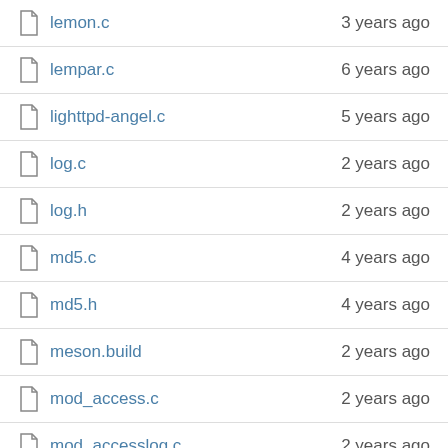lemon.c  3 years ago
lempar.c  6 years ago
lighttpd-angel.c  5 years ago
log.c  2 years ago
log.h  2 years ago
md5.c  4 years ago
md5.h  4 years ago
meson.build  2 years ago
mod_access.c  2 years ago
mod_accesslog.c  2 years ago
mod_alias.c  2 years ago